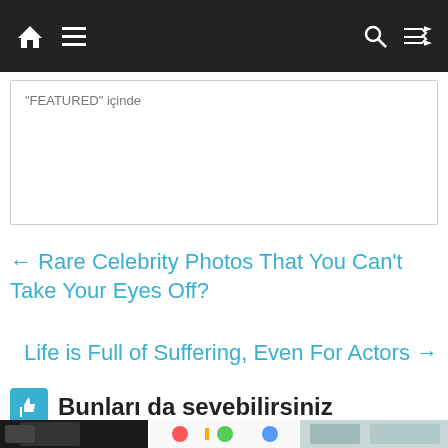Navigation bar with home, menu, search, and shuffle icons
"FEATURED" içinde
← Rare Celebrity Photos That You Can't Take Your Eyes Off?
Life is Full of Suffering, Even For Actors →
Bunları da sevebilirsiniz
[Figure (photo): Three thumbnail images at the bottom of the page showing celebrity/lifestyle photos]